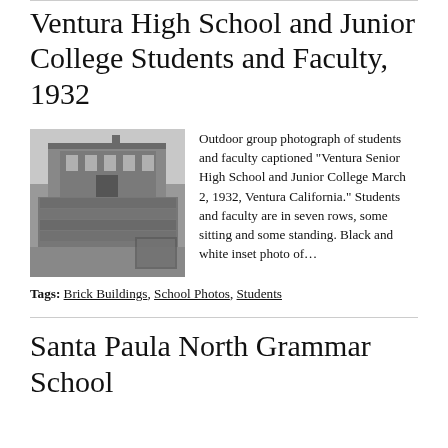Ventura High School and Junior College Students and Faculty, 1932
[Figure (photo): Black and white outdoor group photograph of students and faculty in front of a brick school building]
Outdoor group photograph of students and faculty captioned "Ventura Senior High School and Junior College March 2, 1932, Ventura California." Students and faculty are in seven rows, some sitting and some standing. Black and white inset photo of...
Tags: Brick Buildings, School Photos, Students
Santa Paula North Grammar School